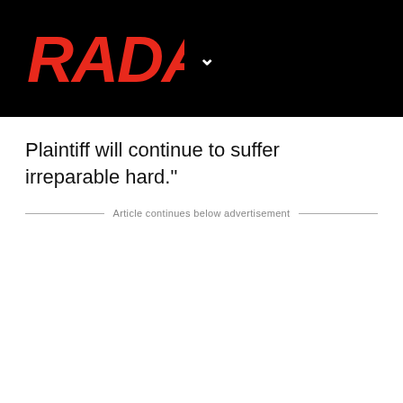RADAR
Plaintiff will continue to suffer irreparable hard."
Article continues below advertisement